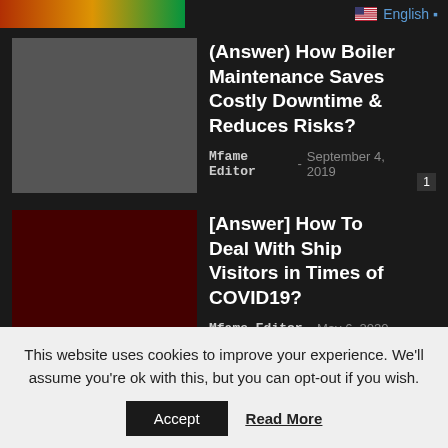[Figure (screenshot): Partial top image strip showing colorful content]
English •
(Answer) How Boiler Maintenance Saves Costly Downtime & Reduces Risks?
Mfame Editor - September 4, 2019
[Answer] How To Deal With Ship Visitors in Times of COVID19?
Mfame Editor - May 6, 2020
Popular videos
[Watch] Inside the Bridge on a Product
This website uses cookies to improve your experience. We'll assume you're ok with this, but you can opt-out if you wish.
Accept
Read More